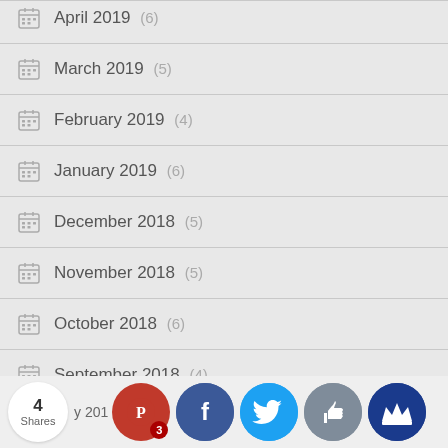April 2019 (6)
March 2019 (5)
February 2019 (4)
January 2019 (6)
December 2018 (5)
November 2018 (5)
October 2018 (6)
September 2018 (4)
August 2018 (5)